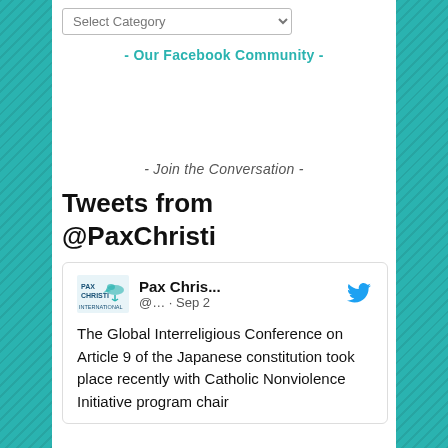[Figure (screenshot): Select Category dropdown widget]
- Our Facebook Community -
- Join the Conversation -
Tweets from @PaxChristi
[Figure (screenshot): Tweet card from Pax Christi account dated Sep 2 with text: The Global Interreligious Conference on Article 9 of the Japanese constitution took place recently with Catholic Nonviolence Initiative program chair]